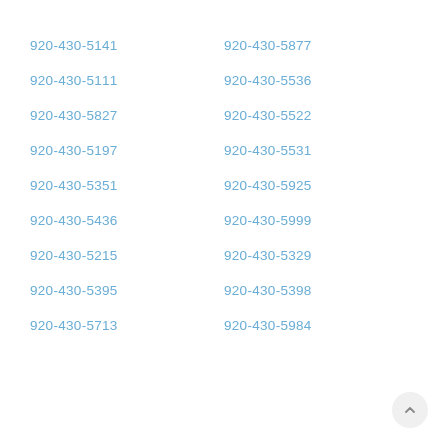920-430-5141
920-430-5877
920-430-5111
920-430-5536
920-430-5827
920-430-5522
920-430-5197
920-430-5531
920-430-5351
920-430-5925
920-430-5436
920-430-5999
920-430-5215
920-430-5329
920-430-5395
920-430-5398
920-430-5713
920-430-5984